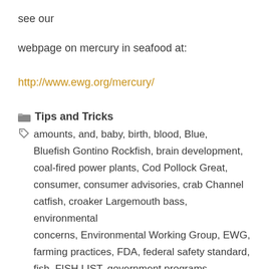see our
webpage on mercury in seafood at:
http://www.ewg.org/mercury/
Tips and Tricks
amounts, and, baby, birth, blood, Blue, Bluefish Gontino Rockfish, brain development, coal-fired power plants, Cod Pollock Great, consumer, consumer advisories, crab Channel catfish, croaker Largemouth bass, environmental concerns, Environmental Working Group, EWG, farming practices, FDA, federal safety standard, fish, FISH LIST, government programs, Government studies Guide Gulf Great...